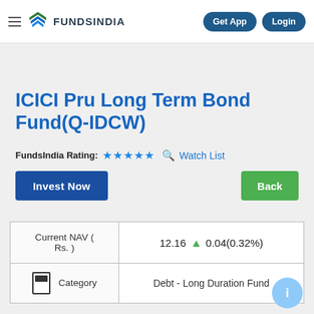FundsIndia | Get App | Login
ICICI Pru Long Term Bond Fund(Q-IDCW)
FundsIndia Rating: ★★★★★  Watch List
Invest Now
Back
| Current NAV ( Rs. ) | 12.16 ▲ 0.04(0.32%) |
| --- | --- |
| Category | Debt - Long Duration Fund |